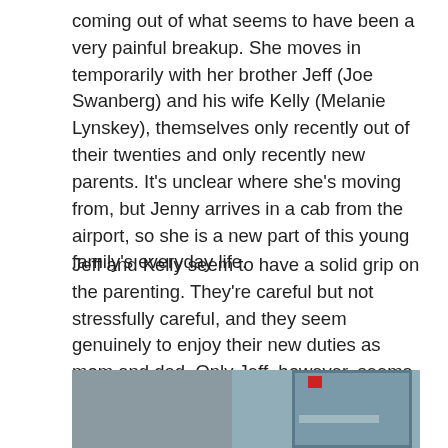coming out of what seems to have been a very painful breakup. She moves in temporarily with her brother Jeff (Joe Swanberg) and his wife Kelly (Melanie Lynskey), themselves only recently out of their twenties and only recently new parents. It's unclear where she's moving from, but Jenny arrives in a cab from the airport, so she is a new part of this young family's everyday life.
Jeff and Kelly seem to have a solid grip on the parenting. They're careful but not stressfully careful, and they seem genuinely to enjoy their new duties as mom and dad. Only Jeff, however, seems to have figured out where fatherhood and his career as a film director fit together. Kelly, a writer who has published one novel, hasn't worked out any time for her own career.
[Figure (photo): A man's face visible on the left side of the frame, with a blue-grey wall and what appears to be a door or cabinet with a horizontal bar handle on the right side. A small red object is visible near the top center.]